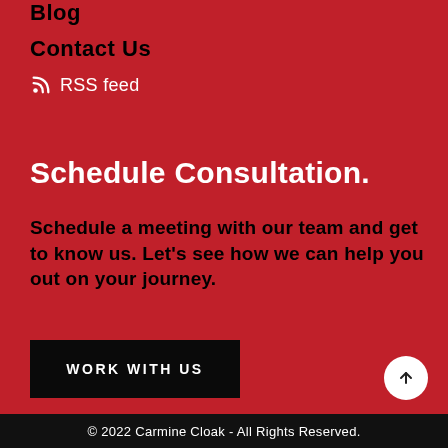Blog
Contact Us
RSS feed
Schedule Consultation.
Schedule a meeting with our team and get to know us. Let's see how we can help you out on your journey.
WORK WITH US
© 2022 Carmine Cloak - All Rights Reserved.